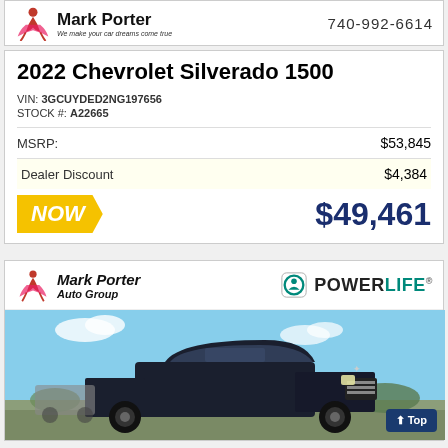Mark Porter Auto Group - We make your car dreams come true | 740-992-6614
2022 Chevrolet Silverado 1500
VIN: 3GCUYDED2NG197656
STOCK #: A22665
|  | Price |
| --- | --- |
| MSRP: | $53,845 |
| Dealer Discount | $4,384 |
| NOW | $49,461 |
[Figure (logo): Mark Porter Auto Group logo with dancer figure]
[Figure (logo): PowerLife logo with green icon]
[Figure (photo): Dark colored 2022 Chevrolet Silverado 1500 truck photographed outdoors]